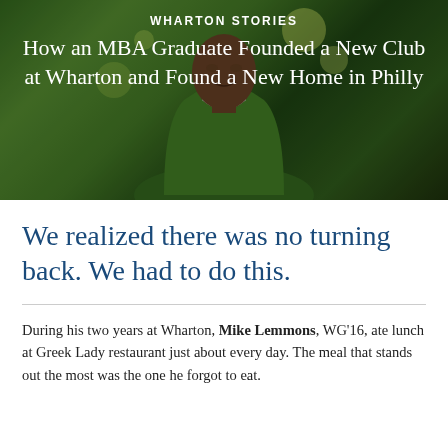WHARTON STORIES
How an MBA Graduate Founded a New Club at Wharton and Found a New Home in Philly
We realized there was no turning back. We had to do this.
During his two years at Wharton, Mike Lemmons, WG'16, ate lunch at Greek Lady restaurant just about every day. The meal that stands out the most was the one he forgot to eat.